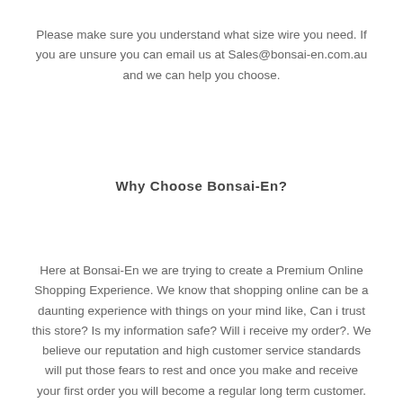Please make sure you understand what size wire you need. If you are unsure you can email us at Sales@bonsai-en.com.au and we can help you choose.
Why Choose Bonsai-En?
Here at Bonsai-En we are trying to create a Premium Online Shopping Experience. We know that shopping online can be a daunting experience with things on your mind like, Can i trust this store? Is my information safe? Will i receive my order?. We believe our reputation and high customer service standards will put those fears to rest and once you make and receive your first order you will become a regular long term customer.